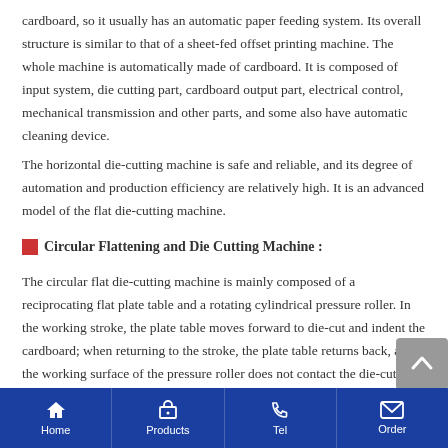cardboard, so it usually has an automatic paper feeding system. Its overall structure is similar to that of a sheet-fed offset printing machine. The whole machine is automatically made of cardboard. It is composed of input system, die cutting part, cardboard output part, electrical control, mechanical transmission and other parts, and some also have automatic cleaning device.
The horizontal die-cutting machine is safe and reliable, and its degree of automation and production efficiency are relatively high. It is an advanced model of the flat die-cutting machine.
Circular Flattening and Die Cutting Machine :
The circular flat die-cutting machine is mainly composed of a reciprocating flat plate table and a rotating cylindrical pressure roller. In the working stroke, the plate table moves forward to die-cut and indent the cardboard; when returning to the stroke, the plate table returns back, and the working surface of the pressure roller does not contact the die-cut plate. According to the different rotation of the
Home  Products  Tel  Order